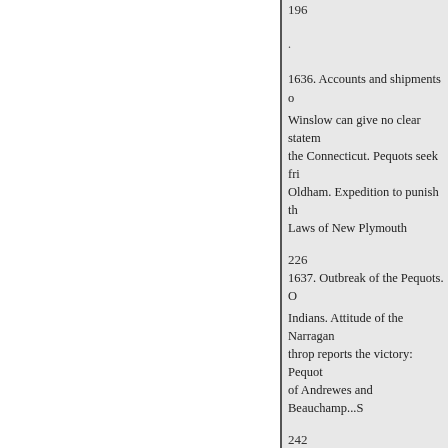196
.
1636. Accounts and shipments o
Winslow can give no clear statem
the Connecticut. Pequots seek fri
Oldham. Expedition to punish th
Laws of New Plymouth
226
1637. Outbreak of the Pequots. O
Indians. Attitude of the Narragan
throp reports the victory: Pequot
of Andrewes and Beauchamp...S
242
1638. Murder of an Indian and p
from England. Shipments and pa
Earthquake
263
1639. 1640. Grants for new town
Hingham. The River Charles. Ag